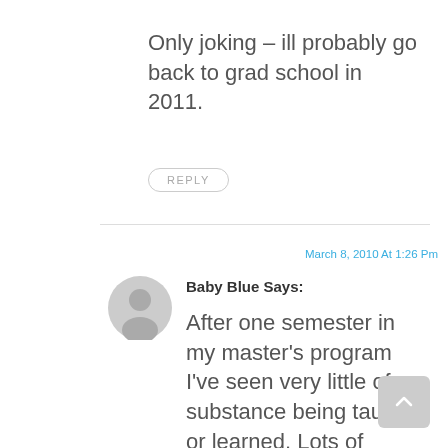Only joking – ill probably go back to grad school in 2011.
REPLY
March 8, 2010 At 1:26 Pm
Baby Blue Says:
[Figure (illustration): Gray circular avatar placeholder icon for user Baby Blue]
After one semester in my master's program I've seen very little of substance being taught or learned. Lots of skimming over and